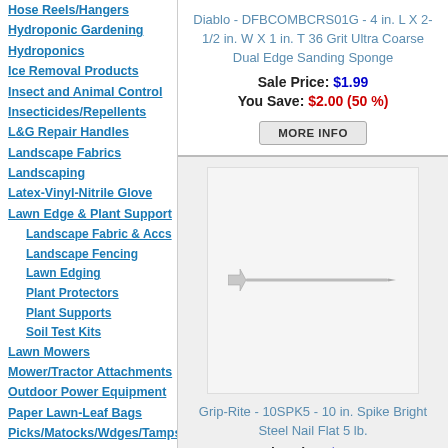Hose Reels/Hangers
Hydroponic Gardening
Hydroponics
Ice Removal Products
Insect and Animal Control
Insecticides/Repellents
L&G Repair Handles
Landscape Fabrics
Landscaping
Latex-Vinyl-Nitrile Glove
Lawn Edge & Plant Support
Landscape Fabric & Accs
Landscape Fencing
Lawn Edging
Plant Protectors
Plant Supports
Soil Test Kits
Lawn Mowers
Mower/Tractor Attachments
Outdoor Power Equipment
Paper Lawn-Leaf Bags
Picks/Matocks/Wdges/Tamps
Diablo - DFBCOMBCRS01G - 4 in. L X 2-1/2 in. W X 1 in. T 36 Grit Ultra Coarse Dual Edge Sanding Sponge
Sale Price: $1.99
You Save: $2.00 (50 %)
Grip-Rite - 10SPK5 - 10 in. Spike Bright Steel Nail Flat 5 lb.
Sale Price: $19.47
You Save: $43.52 (69 %)
[Figure (photo): Grip-Rite 10in spike bright steel nail product image showing a single nail on white/light grey background]